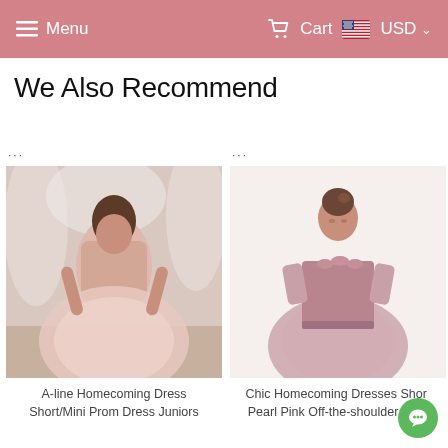Menu  Cart  USD
We Also Recommend
[Figure (photo): A-line pink sparkle tulle mini prom dress worn by a brunette model in a boutique setting]
A-line Homecoming Dress Short/Mini Prom Dress Juniors
[Figure (photo): Chic off-the-shoulder pearl pink tulle short homecoming dress worn by a young woman on white background]
Chic Homecoming Dresses Short Pearl Pink Off-the-shoulder Tulle